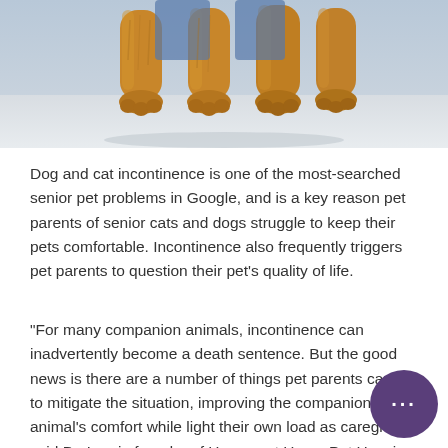[Figure (photo): Close-up photo of golden/brown curly-haired dog legs standing on a light surface, with a light blue-grey background. Only the lower legs and paws of the dog are visible.]
Dog and cat incontinence is one of the most-searched senior pet problems in Google, and is a key reason pet parents of senior cats and dogs struggle to keep their pets comfortable. Incontinence also frequently triggers pet parents to question their pet's quality of life.
“For many companion animals, incontinence can inadvertently become a death sentence. But the good news is there are a number of things pet parents can do to mitigate the situation, improving the companion animal’s comfort while light their own load as caregiver,” said Dr. Laurie founder of Heaven at Home Pet Hospice. Read the